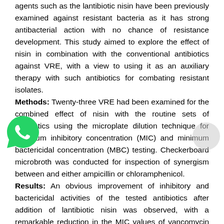agents such as the lantibiotic nisin have been previously examined against resistant bacteria as it has strong antibacterial action with no chance of resistance development. This study aimed to explore the effect of nisin in combination with the conventional antibiotics against VRE, with a view to using it as an auxiliary therapy with such antibiotics for combating resistant isolates. Methods: Twenty-three VRE had been examined for the combined effect of nisin with the routine sets of antibiotics using the microplate dilution technique for minimum inhibitory concentration (MIC) and minimum bactericidal concentration (MBC) testing. Checkerboard microbroth was conducted for inspection of synergism between and either ampicillin or chloramphenicol. Results: An obvious improvement of inhibitory and bactericidal activities of the tested antibiotics after addition of lantibiotic nisin was observed, with a remarkable reduction in the MIC values of vancomycin against all of the